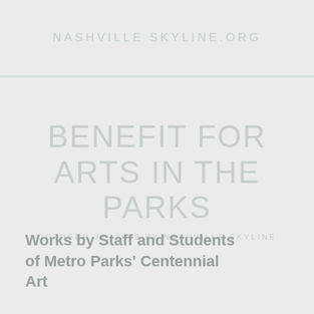NASHVILLE SKYLINE.ORG
BENEFIT FOR ARTS IN THE PARKS
OCTOBER 31, 2009 by NASHVILLE SKYLINE
Works by Staff and Students of Metro Parks' Centennial Art